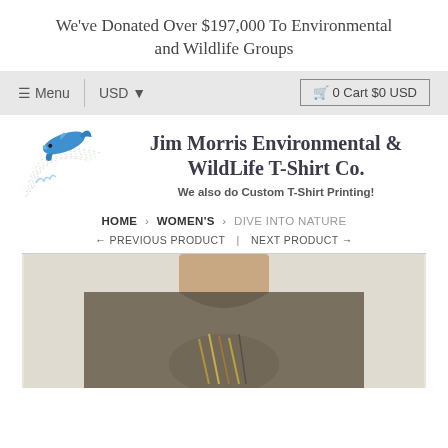We've Donated Over $197,000 To Environmental and Wildlife Groups
≡ Menu  |  USD ▼  |  🛒 0 Cart $0 USD
[Figure (logo): Dolphin jumping through rainbow arc logo for Jim Morris Environmental & WildLife T-Shirt Co.]
Jim Morris Environmental & WildLife T-Shirt Co.
We also do Custom T-Shirt Printing!
HOME › WOMEN'S › DIVE INTO NATURE
← PREVIOUS PRODUCT  |  NEXT PRODUCT →
[Figure (photo): Person wearing a khaki/olive colored t-shirt with a nature design, shown from neck to chest level.]